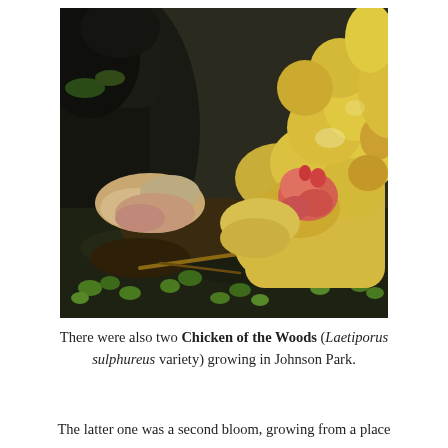[Figure (photo): Close-up photograph of Chicken of the Woods (Laetiporus sulphureus) fungus growing at the base of a tree, showing bright yellow and orange bracket fungi with red/pink flesh, surrounded by dark soil, rocks, and small green plants.]
There were also two Chicken of the Woods (Laetiporus sulphureus variety) growing in Johnson Park.
The latter one was a second bloom, growing from a place